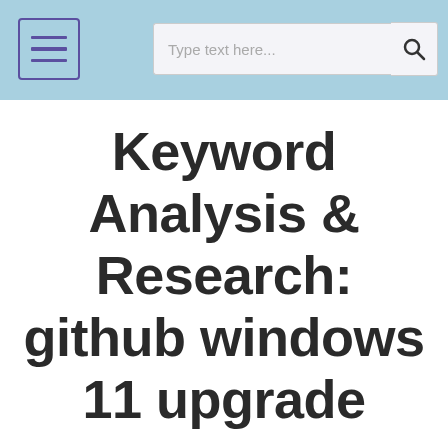[Navigation header with menu button, search input placeholder 'Type text here...', and search icon]
Keyword Analysis & Research: github windows 11 upgrade